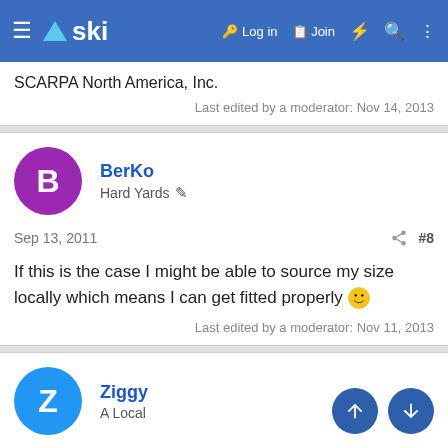≡ ▲ski  🔑 Log in  📋 Join  ⚡ 🔍 ⋮
SCARPA North America, Inc.
Last edited by a moderator: Nov 14, 2013
BerKo
Hard Yards ✏️
Sep 13, 2011
#8
If this is the case I might be able to source my size locally which means I can get fitted properly 🙂
Last edited by a moderator: Nov 11, 2013
Ziggy
A Local